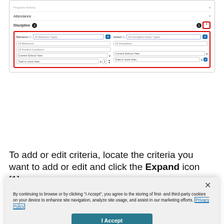[Figure (screenshot): Screenshot of a student information system showing discipline criteria filter panel with Behavior and Action fields, red-outlined expanded section, and numbered badges for expand/collapse controls.]
To add or edit criteria, locate the criteria you want to add or edit and click the Expand icon [1].
[Figure (screenshot): Cookie consent overlay with X close button, privacy policy text, I Accept button, and Cookies Settings link.]